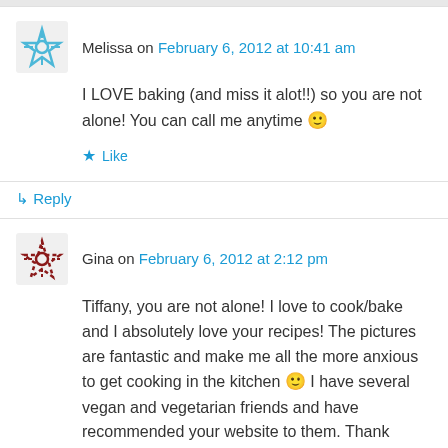Melissa on February 6, 2012 at 10:41 am
I LOVE baking (and miss it alot!!) so you are not alone! You can call me anytime 🙂
★ Like
↳ Reply
Gina on February 6, 2012 at 2:12 pm
Tiffany, you are not alone! I love to cook/bake and I absolutely love your recipes! The pictures are fantastic and make me all the more anxious to get cooking in the kitchen 🙂 I have several vegan and vegetarian friends and have recommended your website to them. Thank